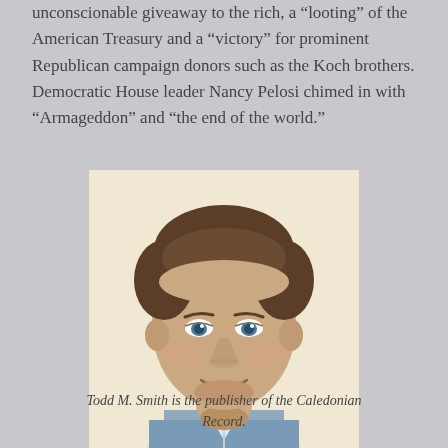unconscionable giveaway to the rich, a “looting” of the American Treasury and a “victory” for prominent Republican campaign donors such as the Koch brothers. Democratic House leader Nancy Pelosi chimed in with “Armageddon” and “the end of the world.”
[Figure (photo): Headshot of Todd M. Smith, a man in a blue plaid/gingham shirt, smiling, against a light cream/beige background.]
Todd M. Smith is the publisher of the Caledonian Record.